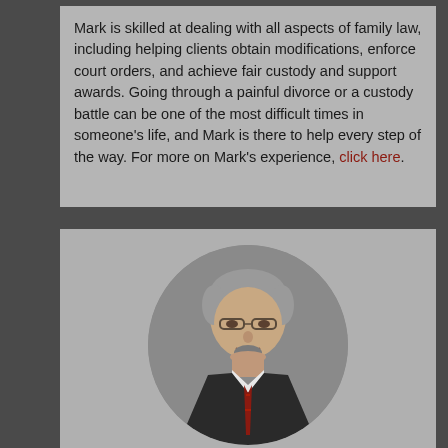Mark is skilled at dealing with all aspects of family law, including helping clients obtain modifications, enforce court orders, and achieve fair custody and support awards. Going through a painful divorce or a custody battle can be one of the most difficult times in someone's life, and Mark is there to help every step of the way. For more on Mark's experience, click here.
[Figure (photo): Professional headshot of a middle-aged man with gray hair, glasses, goatee, wearing a dark suit with a red striped tie, displayed in a circular crop]